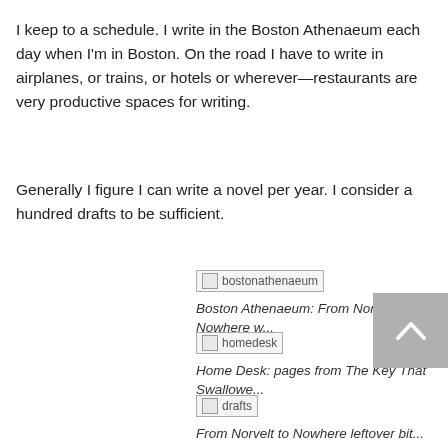I keep to a schedule. I write in the Boston Athenaeum each day when I'm in Boston. On the road I have to write in airplanes, or trains, or hotels or wherever—restaurants are very productive spaces for writing.
Generally I figure I can write a novel per year. I consider a hundred drafts to be sufficient.
[Figure (photo): Broken image placeholder labeled 'bostonathenaeum']
Boston Athenaeum: From Norvelt to Nowhere w...
[Figure (photo): Broken image placeholder labeled 'homedesk']
Home Desk: pages from The Key That Swallowe...
[Figure (photo): Broken image placeholder labeled 'drafts']
From Norvelt to Nowhere leftover bit...